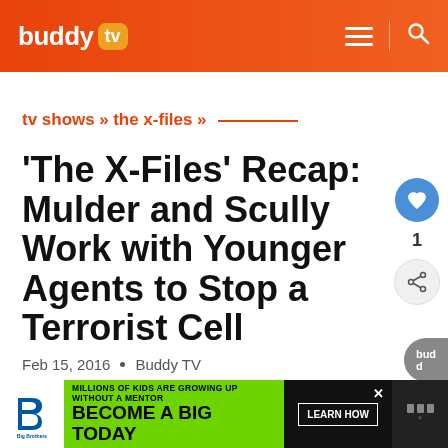buddy tv
tv shows » the x-files »
'The X-Files' Recap: Mulder and Scully Work with Younger Agents to Stop a Terrorist Cell
Feb 15, 2016  •  Buddy TV
[Figure (infographic): Advertisement banner: Big Brothers Big Sisters — MILLIONS OF KIDS ARE GROWING UP WITHOUT A MENTOR. BECOME A BIG TODAY. Learn How.]